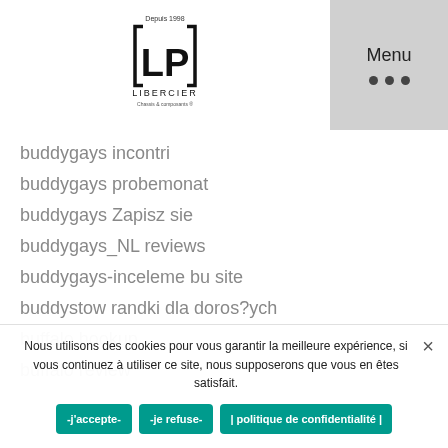LP Libercier — Menu
buddygays incontri
buddygays probemonat
buddygays Zapisz sie
buddygays_NL reviews
buddygays-inceleme bu site
buddystow randki dla doros?ych
buffalo hookup
buffalo review
Buffalo+NY+New York browse around this web-site
bumble apk premium
Nous utilisons des cookies pour vous garantir la meilleure expérience, si vous continuez à utiliser ce site, nous supposerons que vous en êtes satisfait.
-j'accepte-   -je refuse-   | politique de confidentialité |